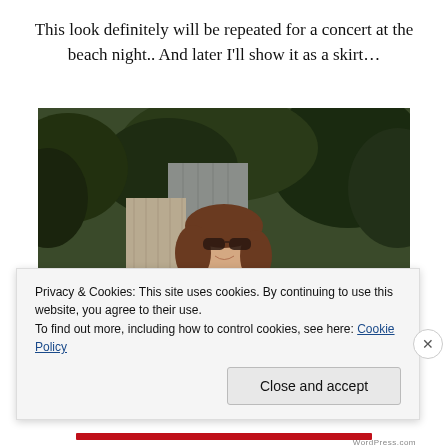This look definitely will be repeated for a concert at the beach night.. And later I'll show it as a skirt…
[Figure (photo): A woman with shoulder-length brown hair wearing sunglasses and a white top, smiling outdoors in front of dense green trees and foliage with a fence and house siding visible in the background.]
Privacy & Cookies: This site uses cookies. By continuing to use this website, you agree to their use.
To find out more, including how to control cookies, see here: Cookie Policy
Close and accept